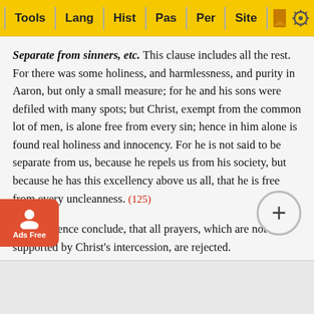Tools | Lang | Hist | Pas | Per | Site
Separate from sinners, etc. This clause includes all the rest. For there was some holiness, and harmlessness, and purity in Aaron, but only a small measure; for he and his sons were defiled with many spots; but Christ, exempt from the common lot of men, is alone free from every sin; hence in him alone is found real holiness and innocency. For he is not said to be separate from us, because he repels us from his society, but because he has this excellency above us all, that he is free from every uncleanness. (125)
And we hence conclude, that all prayers, which are not supported by Christ’s intercession, are rejected.
It may, however, be asked as to angels, whether they are separate from sinners? And if so, what prevents them from discharging the offices of the priesthood, and from being our mediators? … no one is a la… and; and G…